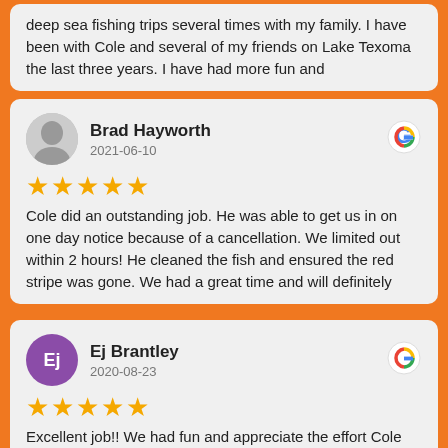deep sea fishing trips several times with my family. I have been with Cole and several of my friends on Lake Texoma the last three years. I have had more fun and
Brad Hayworth
2021-06-10
★★★★★
Cole did an outstanding job. He was able to get us in on one day notice because of a cancellation. We limited out within 2 hours! He cleaned the fish and ensured the red stripe was gone. We had a great time and will definitely
Ej Brantley
2020-08-23
★★★★★
Excellent job!! We had fun and appreciate the effort Cole put in to be sure everyone was happy.